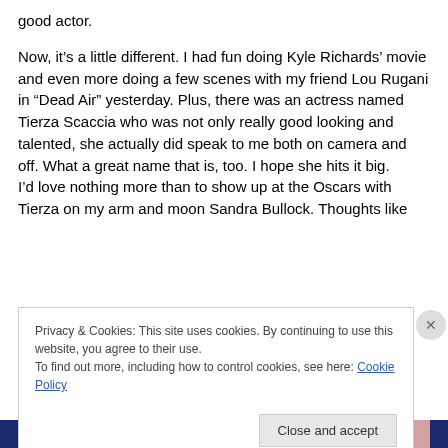good actor.
Now, it’s a little different. I had fun doing Kyle Richards’ movie and even more doing a few scenes with my friend Lou Rugani in “Dead Air” yesterday. Plus, there was an actress named Tierza Scaccia who was not only really good looking and talented, she actually did speak to me both on camera and off. What a great name that is, too. I hope she hits it big.
I’d love nothing more than to show up at the Oscars with Tierza on my arm and moon Sandra Bullock. Thoughts like
Privacy & Cookies: This site uses cookies. By continuing to use this website, you agree to their use.
To find out more, including how to control cookies, see here: Cookie Policy
Close and accept